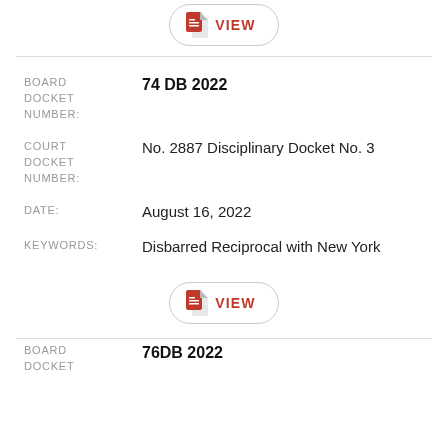[Figure (other): PDF VIEW button at top of page]
BOARD DOCKET NUMBER: 74 DB 2022
COURT DOCKET NUMBER: No. 2887 Disciplinary Docket No. 3
DATE: August 16, 2022
KEYWORDS: Disbarred Reciprocal with New York
[Figure (other): PDF VIEW button in middle of page]
BOARD DOCKET NUMBER: 76DB 2022